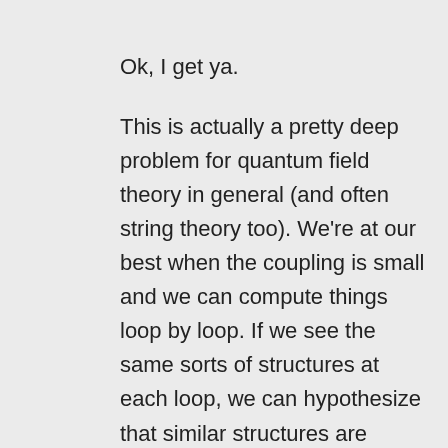Ok, I get ya.
This is actually a pretty deep problem for quantum field theory in general (and often string theory too). We're at our best when the coupling is small and we can compute things loop by loop. If we see the same sorts of structures at each loop, we can hypothesize that similar structures are relevant even when the coupling is large and the loop approach doesn't make sense. But it's